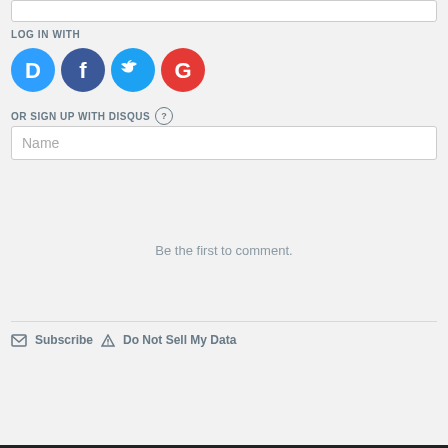LOG IN WITH
[Figure (illustration): Four social login icon circles: Disqus (blue D), Facebook (dark blue f), Twitter (light blue bird), Google (red G)]
OR SIGN UP WITH DISQUS ?
Name
Be the first to comment.
Subscribe  Do Not Sell My Data